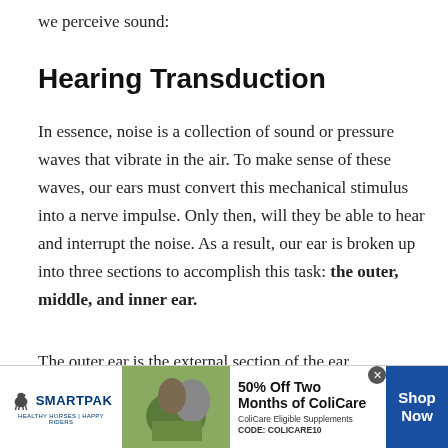we perceive sound:
Hearing Transduction
In essence, noise is a collection of sound or pressure waves that vibrate in the air. To make sense of these waves, our ears must convert this mechanical stimulus into a nerve impulse. Only then, will they be able to hear and interrupt the noise. As a result, our ear is broken up into three sections to accomplish this task: the outer, middle, and inner ear.
The outer ear is the external section of the ear, consisting of the auricle, pinna and ear canal. Sound
[Figure (other): SmartPak advertisement banner: 50% Off Two Months of ColiCare, ColiCare Eligible Supplements, CODE: COLICARE10, with Shop Now button]